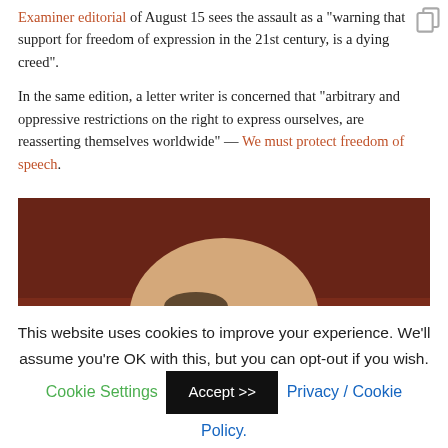Examiner editorial of August 15 sees the assault as a "warning that support for freedom of expression in the 21st century, is a dying creed".
In the same edition, a letter writer is concerned that "arbitrary and oppressive restrictions on the right to express ourselves, are reasserting themselves worldwide" — We must protect freedom of speech.
[Figure (photo): Portrait photo of a bald man with glasses and a grey moustache, against a dark reddish-brown background.]
This website uses cookies to improve your experience. We'll assume you're OK with this, but you can opt-out if you wish. Cookie Settings  Accept >>  Privacy / Cookie Policy.